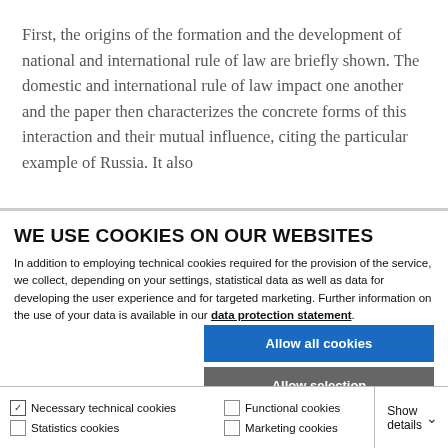First, the origins of the formation and the development of national and international rule of law are briefly shown. The domestic and international rule of law impact one another and the paper then characterizes the concrete forms of this interaction and their mutual influence, citing the particular example of Russia. It also
WE USE COOKIES ON OUR WEBSITES
In addition to employing technical cookies required for the provision of the service, we collect, depending on your settings, statistical data as well as data for developing the user experience and for targeted marketing. Further information on the use of your data is available in our data protection statement.
Allow all cookies
Allow selection
Use necessary cookies only
Necessary technical cookies | Functional cookies | Statistics cookies | Marketing cookies | Show details